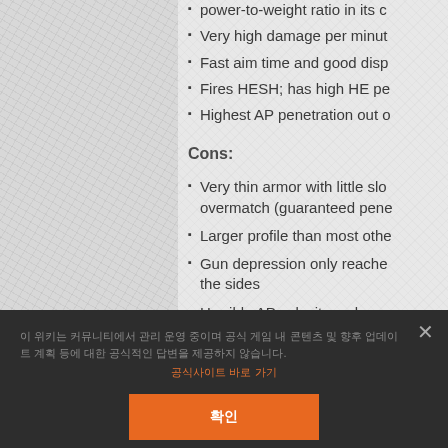power-to-weight ratio in its c...
Very high damage per minut...
Fast aim time and good disp...
Fires HESH; has high HE pe...
Highest AP penetration out o...
Cons:
Very thin armor with little slo... overmatch (guaranteed pene...
Larger profile than most othe...
Gun depression only reache... the sides
Horrible AP velocity makes s... difficult (can be offset by loa...
이 위키는 커뮤니티에서 관리 운영 중이며 공식 게임 내 콘텐츠 및 향후 업데이트 계획 등에 대한 공식적인 답변을 제공하지 않습니다.
공식사이트 바로 가기
확인